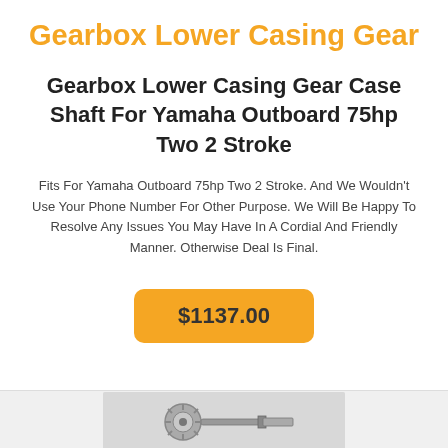Gearbox Lower Casing Gear
Gearbox Lower Casing Gear Case Shaft For Yamaha Outboard 75hp Two 2 Stroke
Fits For Yamaha Outboard 75hp Two 2 Stroke. And We Wouldn't Use Your Phone Number For Other Purpose. We Will Be Happy To Resolve Any Issues You May Have In A Cordial And Friendly Manner. Otherwise Deal Is Final.
$1137.00
[Figure (photo): Photo of a mechanical gear shaft part for Yamaha outboard motor]